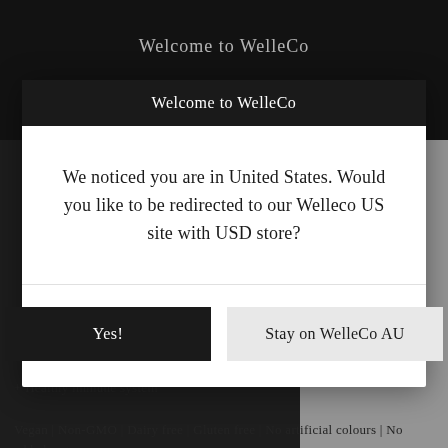Welcome to WelleCo
Welcome to WelleCo
We noticed you are in United States. Would you like to be redirected to our Welleco US site with USD store?
Yes!
Stay on WelleCo AU
+ Healthy immune system
Vegan | Non-GMO | Dairy free | Gluten free | No artificial colours | No added sugar